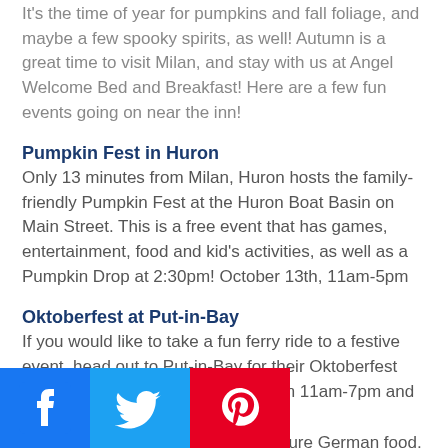It's the time of year for pumpkins and fall foliage, and maybe a few spooky spirits, as well! Autumn is a great time to visit Milan, and stay with us at Angel Welcome Bed and Breakfast! Here are a few fun events going on near the inn!
Pumpkin Fest in Huron
Only 13 minutes from Milan, Huron hosts the family-friendly Pumpkin Fest at the Huron Boat Basin on Main Street. This is a free event that has games, entertainment, food and kid's activities, as well as a Pumpkin Drop at 2:30pm! October 13th, 11am-5pm
Oktoberfest at Put-in-Bay
If you would like to take a fun ferry ride to a festive event, head out to Put-in-Bay for their Oktoberfest Celebration. Held October 13th from 11am-7pm and October 14 from Noon-5pm... The festival will feature German food, hot spiced wine and
[Figure (other): Social media icons: Facebook, Twitter, Pinterest]